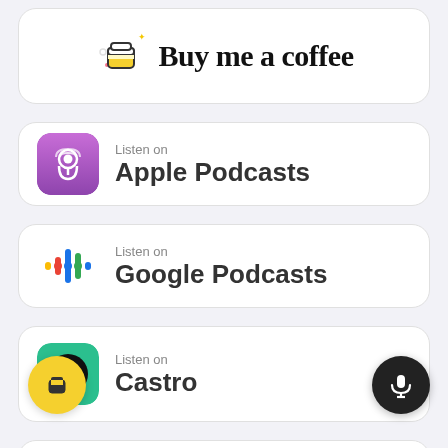[Figure (logo): Buy Me A Coffee logo with coffee cup icon and text 'Buy me a coffee' in handwritten font]
[Figure (logo): Listen on Apple Podcasts badge with purple podcast icon]
[Figure (logo): Listen on Google Podcasts badge with colored dots icon]
[Figure (logo): Listen on Castro badge with teal/green Castro app icon]
[Figure (logo): Subscribe row partially visible at bottom with orange RSS icon]
[Figure (logo): Yellow floating button with coffee cup icon at bottom left]
[Figure (logo): Black floating button with microphone icon at bottom right]